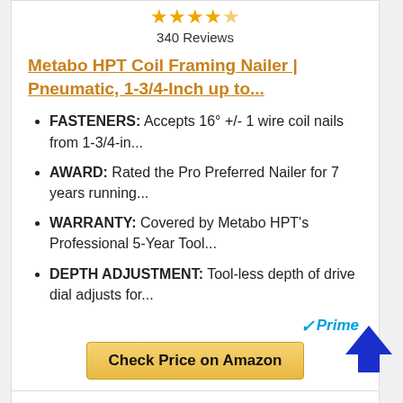[Figure (other): Star rating row: 4.5 out of 5 stars (4 full stars and 1 half star)]
340 Reviews
Metabo HPT Coil Framing Nailer | Pneumatic, 1-3/4-Inch up to...
FASTENERS: Accepts 16° +/- 1 wire coil nails from 1-3/4-in...
AWARD: Rated the Pro Preferred Nailer for 7 years running...
WARRANTY: Covered by Metabo HPT's Professional 5-Year Tool...
DEPTH ADJUSTMENT: Tool-less depth of drive dial adjusts for...
[Figure (logo): Amazon Prime logo with checkmark]
Check Price on Amazon